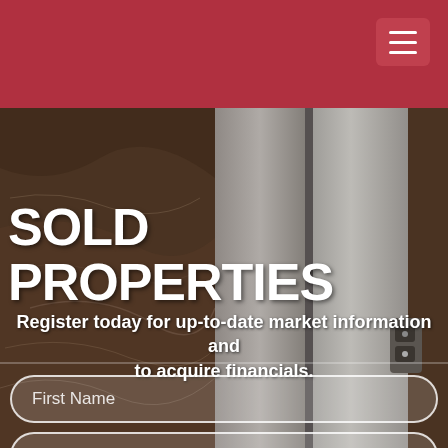[Figure (photo): Dark marble texture background with metallic elevator doors visible on the right side]
SOLD PROPERTIES
Register today for up-to-date market information and to acquire financials.
First Name
Last Name